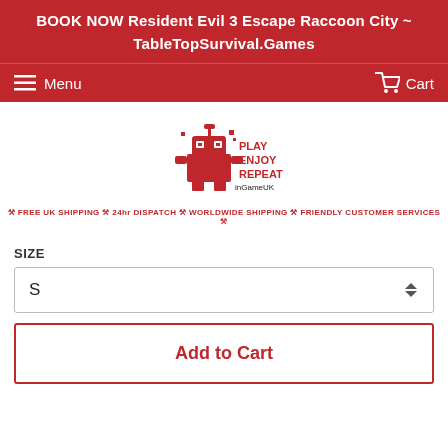BOOK NOW Resident Evil 3 Escape Raccoon City ~ TableTopSurvival.Games
[Figure (screenshot): Navigation bar with hamburger Menu icon on left and Cart icon on right, white text on red background]
[Figure (logo): InGameUK logo: pixel art robot with Play Enjoy Repeat text]
🎮 FREE UK SHIPPING 🎮 24hr DISPATCH 🎮 WORLDWIDE SHIPPING 🎮 FRIENDLY CUSTOMER SERVICES 🎮
SIZE
S
Add to Cart